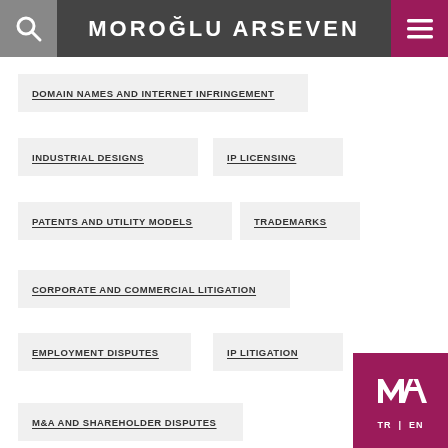MOROĞLU ARSEVEN
DOMAIN NAMES AND INTERNET INFRINGEMENT
INDUSTRIAL DESIGNS
IP LICENSING
PATENTS AND UTILITY MODELS
TRADEMARKS
CORPORATE AND COMMERCIAL LITIGATION
EMPLOYMENT DISPUTES
IP LITIGATION
M&A AND SHAREHOLDER DISPUTES
[Figure (logo): Moroğlu Arseven monogram MA logo in white on magenta/crimson background with TR | EN language selector]